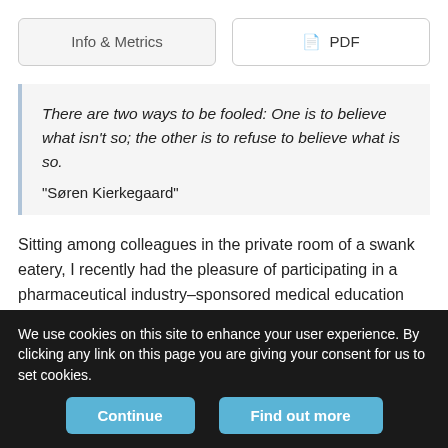Info & Metrics
PDF
There are two ways to be fooled: One is to believe what isn't so; the other is to refuse to believe what is so.
“Søren Kierkegaard”
Sitting among colleagues in the private room of a swank eatery, I recently had the pleasure of participating in a pharmaceutical industry–sponsored medical education event allegedly exploring the management of patients presenting to their health providers with
We use cookies on this site to enhance your user experience. By clicking any link on this page you are giving your consent for us to set cookies.
Continue
Find out more